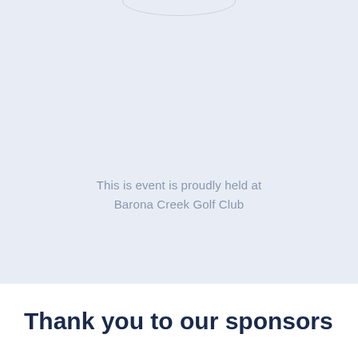This is event is proudly held at
Barona Creek Golf Club
Thank you to our sponsors